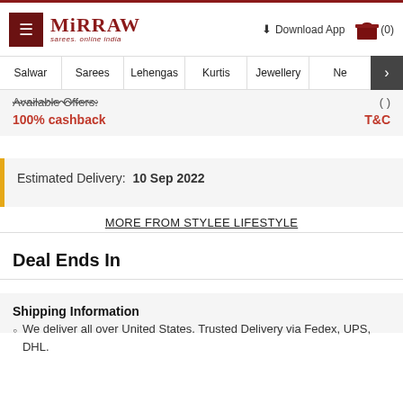[Figure (logo): Mirraw logo with hamburger menu, Download App link, and cart icon]
Salwar | Sarees | Lehengas | Kurtis | Jewellery | Ne >
Available Offers: (  )
100% cashback   T&C
Estimated Delivery:  10 Sep 2022
MORE FROM STYLEE LIFESTYLE
Deal Ends In
Shipping Information
We deliver all over United States. Trusted Delivery via Fedex, UPS, DHL.